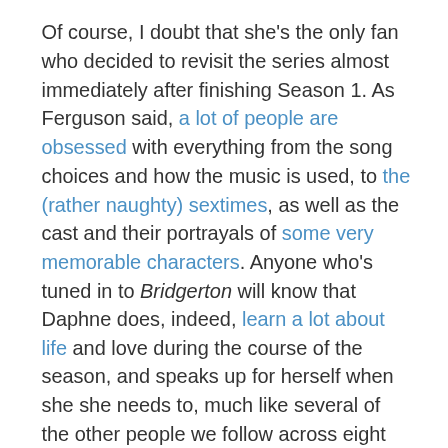Of course, I doubt that she's the only fan who decided to revisit the series almost immediately after finishing Season 1. As Ferguson said, a lot of people are obsessed with everything from the song choices and how the music is used, to the (rather naughty) sextimes, as well as the cast and their portrayals of some very memorable characters. Anyone who's tuned in to Bridgerton will know that Daphne does, indeed, learn a lot about life and love during the course of the season, and speaks up for herself when she she needs to, much like several of the other people we follow across eight episodes.
RECOMMENDED VIDEOS FOR YOU...